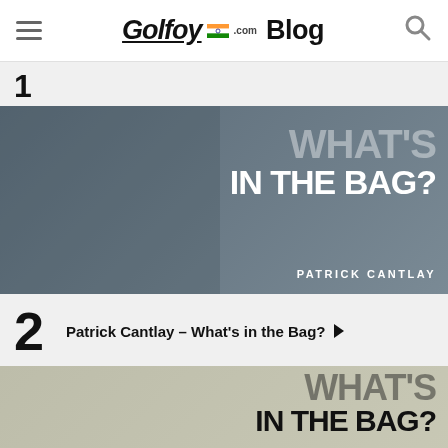Golfoy.com Blog
[Figure (photo): Patrick Cantlay holding a trophy with 'WHAT'S IN THE BAG?' text overlay and his name]
2  Patrick Cantlay – What's in the Bag?
[Figure (photo): Partial view of another 'WHAT'S IN THE BAG?' article image at the bottom]